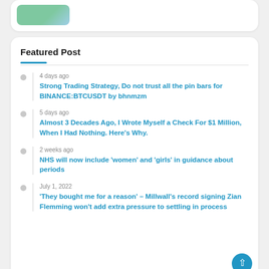[Figure (photo): Partial image of a person outdoors, green/blue tones, at top of page]
Featured Post
4 days ago
Strong Trading Strategy, Do not trust all the pin bars for BINANCE:BTCUSDT by bhnmzm
5 days ago
Almost 3 Decades Ago, I Wrote Myself a Check For $1 Million, When I Had Nothing. Here’s Why.
2 weeks ago
NHS will now include ‘women’ and ‘girls’ in guidance about periods
July 1, 2022
‘They bought me for a reason’ – Millwall’s record signing Zian Flemming won’t add extra pressure to settling in process